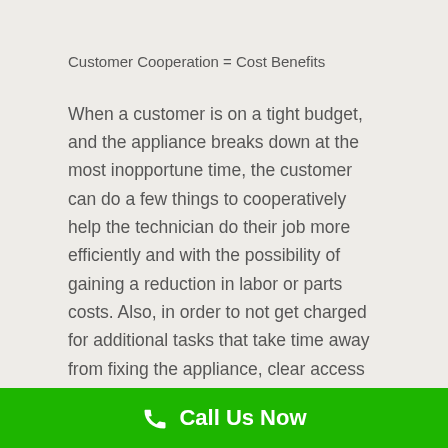Customer Cooperation = Cost Benefits
When a customer is on a tight budget, and the appliance breaks down at the most inopportune time, the customer can do a few things to cooperatively help the technician do their job more efficiently and with the possibility of gaining a reduction in labor or parts costs. Also, in order to not get charged for additional tasks that take time away from fixing the appliance, clear access to the broken machine, and then the technician may also offer to perform additional service checks.
Ask questions. You can find out a lot of information about the technician's expertise (certification) as well as about how better to maintain your appliance to reduce future need for a
Call Us Now